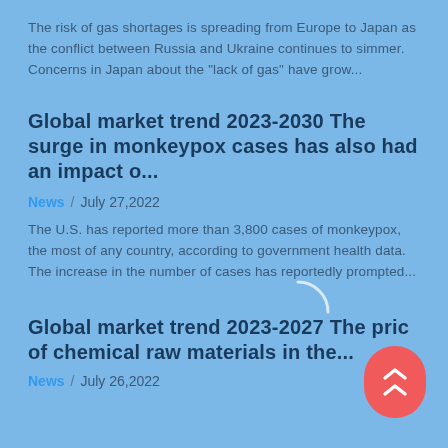The risk of gas shortages is spreading from Europe to Japan as the conflict between Russia and Ukraine continues to simmer. Concerns in Japan about the "lack of gas" have grow...
Global market trend 2023-2030 The surge in monkeypox cases has also had an impact o...
News / July 27,2022
The U.S. has reported more than 3,800 cases of monkeypox, the most of any country, according to government health data. The increase in the number of cases has reportedly prompted...
Global market trend 2023-2027 The pric of chemical raw materials in the...
News / July 26,2022